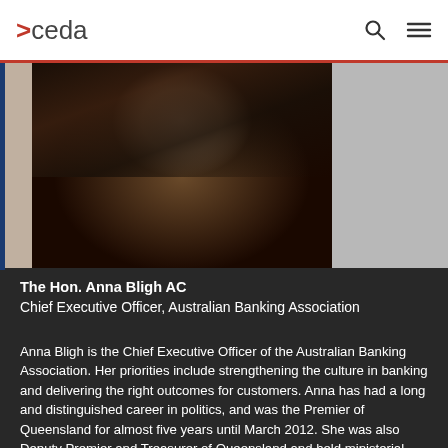>ceda
[Figure (photo): Portrait photo of The Hon. Anna Bligh AC, a woman with dark hair wearing a black jacket, shown from shoulders up against a grey background]
The Hon. Anna Bligh AC
Chief Executive Officer, Australian Banking Association
Anna Bligh is the Chief Executive Officer of the Australian Banking Association. Her priorities include strengthening the culture in banking and delivering the right outcomes for customers. Anna has had a long and distinguished career in politics, and was the Premier of Queensland for almost five years until March 2012. She was also Deputy Premier and Treasurer of Queensland and held ministerial responsibilities in Education, Social Welfare, Arts, Economic and State